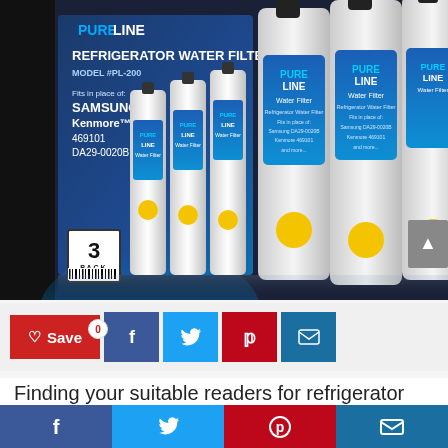[Figure (photo): Product photo of PureLine Refrigerator Water Filter Model #PL-200 3-pack box with three white filter bottles inside and three large filter bottles displayed outside the box. Box shows it fits Samsung, Kenmore, 469101, DA29-0020B models.]
[Figure (infographic): Social sharing bar with Save button (heart icon, count 0), Facebook, Twitter, Pinterest, and Email share buttons]
Finding your suitable readers for refrigerator
[Figure (infographic): Bottom social sharing bar with Facebook, Twitter, Pinterest, and Email icons]